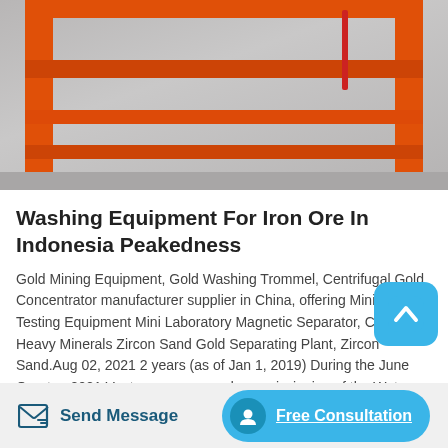[Figure (photo): Orange metal industrial machine frame/structure (likely a mining or screening equipment) photographed in a warehouse or factory setting with concrete floor. The structure is painted bright orange.]
Washing Equipment For Iron Ore In Indonesia Peakedness
Gold Mining Equipment, Gold Washing Trommel, Centrifugal Gold Concentrator manufacturer supplier in China, offering Mining Testing Equipment Mini Laboratory Magnetic Separator, Complete Heavy Minerals Zircon Sand Gold Separating Plant, Zircon Sand.Aug 02, 2021 2 years (as of Jan 1, 2019) During the June Quarter, 2021 Venture commenced commissioning of the Wet Screening Plant at the Riley Iron Ore Mine. The progressive equipment commissionin...
[Figure (photo): Bottom strip showing partial view of industrial machinery and equipment in a workshop setting.]
Send Message
Free Consultation